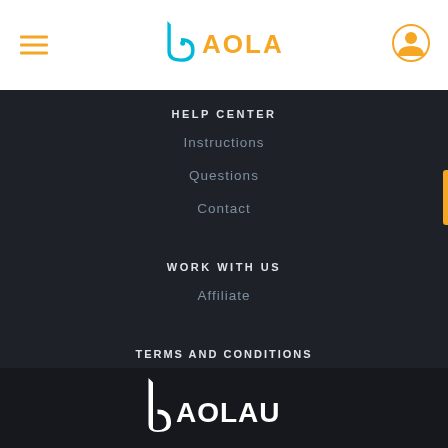BAOLAU
HELP CENTER
Instructions
Questions
Contact
WORK WITH US
Affiliate
TERMS AND CONDITIONS
Privacy Policy
Terms of Use
[Figure (logo): Baolau logo at bottom of page]